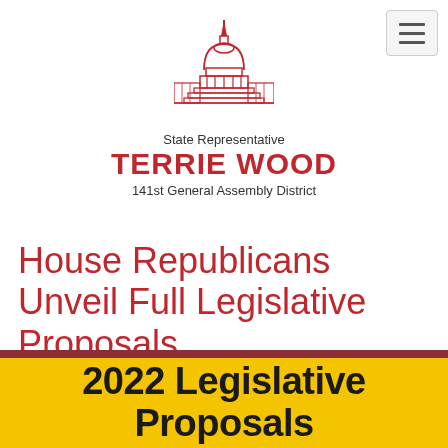[Figure (logo): Red illustration of a Capitol building dome with a spire, used as the header logo for State Representative Terrie Wood]
State Representative TERRIE WOOD 141st General Assembly District
House Republicans Unveil Full Legislative Proposals
[Figure (infographic): Yellow banner with dark red top bar showing '2022 Legislative Proposals' text in bold black on yellow background]